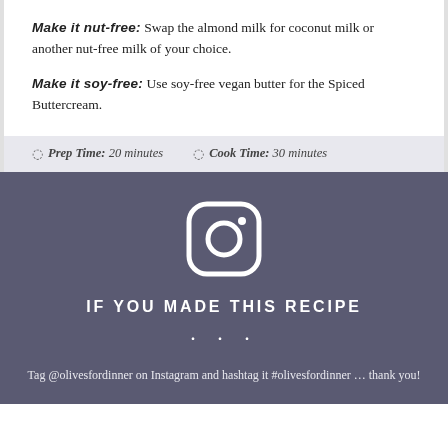Make it nut-free: Swap the almond milk for coconut milk or another nut-free milk of your choice.
Make it soy-free: Use soy-free vegan butter for the Spiced Buttercream.
Prep Time: 20 minutes   Cook Time: 30 minutes
[Figure (logo): Instagram logo icon in white outline on dark background]
IF YOU MADE THIS RECIPE
...
Tag @olivesfordinner on Instagram and hashtag it #olivesfordinner ... thank you!